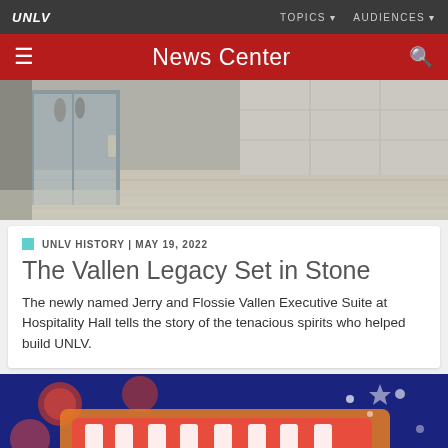UNLV | TOPICS | AUDIENCES
News Center
[Figure (photo): Interior hallway of Hospitality Hall with glass doors and stone/wood panel walls]
UNLV HISTORY | MAY 19, 2022
The Vallen Legacy Set in Stone
The newly named Jerry and Flossie Vallen Executive Suite at Hospitality Hall tells the story of the tenacious spirits who helped build UNLV.
[Figure (photo): Colorful graphic with red and orange decorative text on a dark blue background]